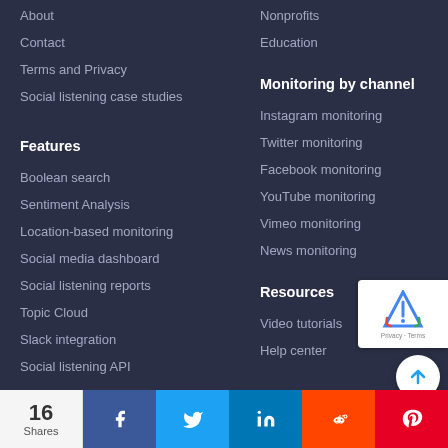About
Contact
Terms and Privacy
Social listening case studies
Features
Boolean search
Sentiment Analysis
Location-based monitoring
Social media dashboard
Social listening reports
Topic Cloud
Slack integration
Social listening API
Nonprofits
Education
Monitoring by channel
Instagram monitoring
Twitter monitoring
Facebook monitoring
YouTube monitoring
Vimeo monitoring
News monitoring
Resources
Video tutorials
Help center
16 Shares